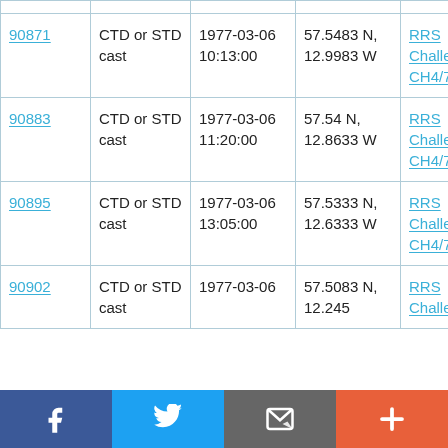| ID | Type | Date/Time | Location | Vessel |
| --- | --- | --- | --- | --- |
| 90871 | CTD or STD cast | 1977-03-06 10:13:00 | 57.5483 N, 12.9983 W | RRS Challenger CH4/77 |
| 90883 | CTD or STD cast | 1977-03-06 11:20:00 | 57.54 N, 12.8633 W | RRS Challenger CH4/77 |
| 90895 | CTD or STD cast | 1977-03-06 13:05:00 | 57.5333 N, 12.6333 W | RRS Challenger CH4/77 |
| 90902 | CTD or STD cast | 1977-03-06 | 57.5083 N, 12.245 | RRS Challenger |
Social sharing bar: Facebook, Twitter, Email, More